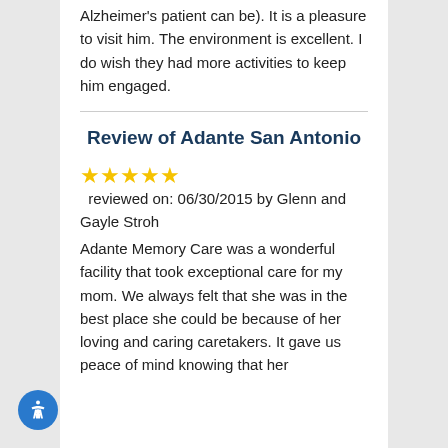Alzheimer's patient can be). It is a pleasure to visit him. The environment is excellent. I do wish they had more activities to keep him engaged.
Review of Adante San Antonio
★★★★★   reviewed on: 06/30/2015 by Glenn and Gayle Stroh
Adante Memory Care was a wonderful facility that took exceptional care for my mom. We always felt that she was in the best place she could be because of her loving and caring caretakers. It gave us peace of mind knowing that her